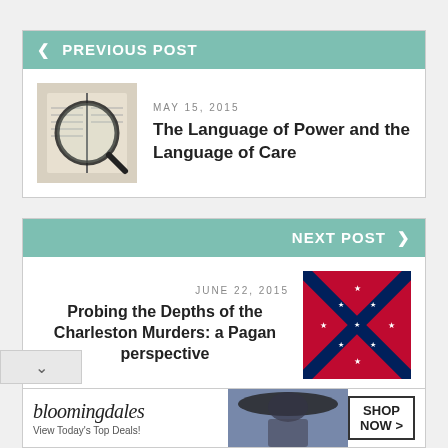< PREVIOUS POST
[Figure (photo): Magnifying glass over open book pages]
MAY 15, 2015
The Language of Power and the Language of Care
NEXT POST >
JUNE 22, 2015
Probing the Depths of the Charleston Murders: a Pagan perspective
[Figure (illustration): Confederate flag - red with blue X cross and white stars]
[Figure (screenshot): Bloomingdales advertisement: View Today's Top Deals! SHOP NOW >]